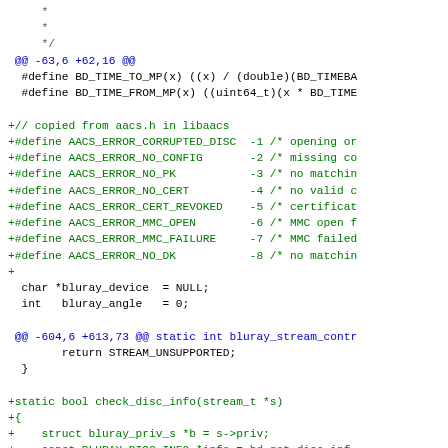[Figure (screenshot): Diff/patch view of source code showing additions and context lines for bluray stream handling, AACS error defines, and disc info checking function.]